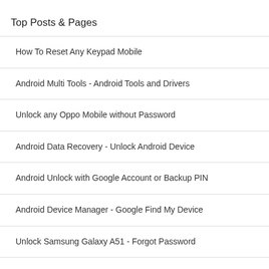Top Posts & Pages
How To Reset Any Keypad Mobile
Android Multi Tools - Android Tools and Drivers
Unlock any Oppo Mobile without Password
Android Data Recovery - Unlock Android Device
Android Unlock with Google Account or Backup PIN
Android Device Manager - Google Find My Device
Unlock Samsung Galaxy A51 - Forgot Password
Unlock any Vivo Mobile without Password